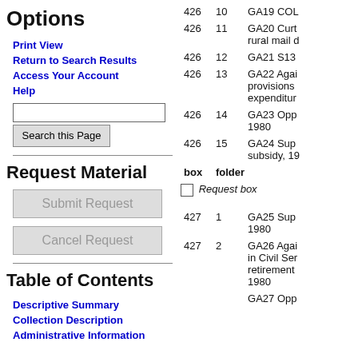Options
Print View
Return to Search Results
Access Your Account
Help
Request Material
Table of Contents
Descriptive Summary
Collection Description
Administrative Information
| box | folder |  |
| --- | --- | --- |
| 426 | 10 | GA19 COL |
| 426 | 11 | GA20 Curt rural mail d |
| 426 | 12 | GA21 S13 |
| 426 | 13 | GA22 Agai provisions expenditur |
| 426 | 14 | GA23 Opp 1980 |
| 426 | 15 | GA24 Sup subsidy, 19 |
|  |  | box  folder  Request box |
| 427 | 1 | GA25 Sup 1980 |
| 427 | 2 | GA26 Agai in Civil Ser retirement 1980 |
|  |  | GA27 Opp |